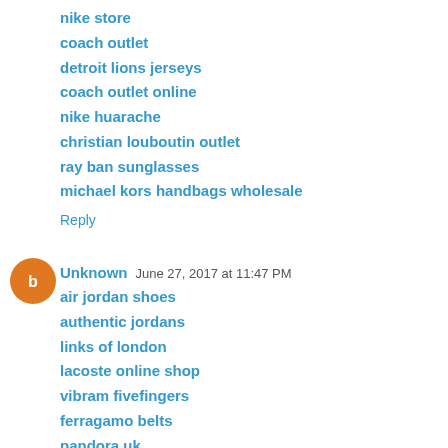nike store
coach outlet
detroit lions jerseys
coach outlet online
nike huarache
christian louboutin outlet
ray ban sunglasses
michael kors handbags wholesale
Reply
Unknown  June 27, 2017 at 11:47 PM
air jordan shoes
authentic jordans
links of london
lacoste online shop
vibram fivefingers
ferragamo belts
pandora uk
curry 3 shoes
longchamp bags